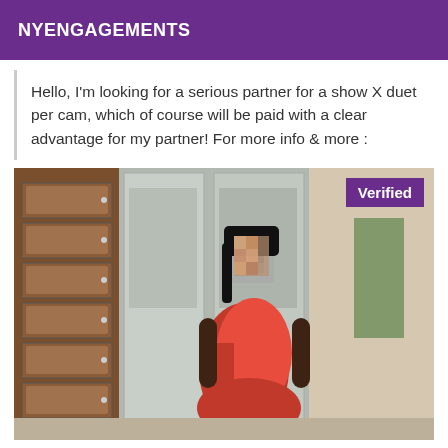NYENGAGEMENTS
Hello, I'm looking for a serious partner for a show X duet per cam, which of course will be paid with a clear advantage for my partner! For more info & more :
[Figure (photo): A person in a red dress standing in a hallway with lockers on the left side. The face is blurred/pixelated. A 'Verified' badge appears in the upper right corner of the photo.]